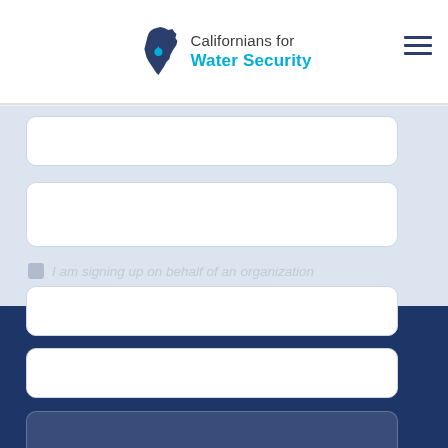Californians for Water Security
[Figure (screenshot): Web form with multiple input fields on a light blue-gray background, a checkbox row reading 'I am signing up on behalf of an organization', and a wave graphic transitioning to dark navy blue at the bottom with another input field.]